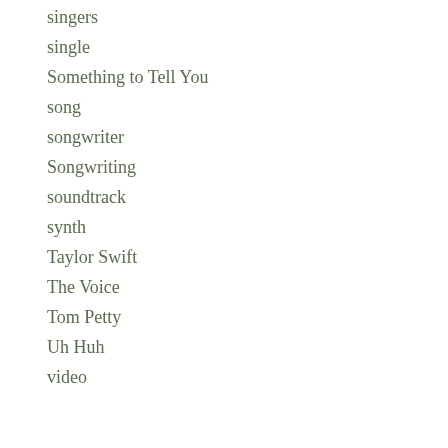singers
single
Something to Tell You
song
songwriter
Songwriting
soundtrack
synth
Taylor Swift
The Voice
Tom Petty
Uh Huh
video